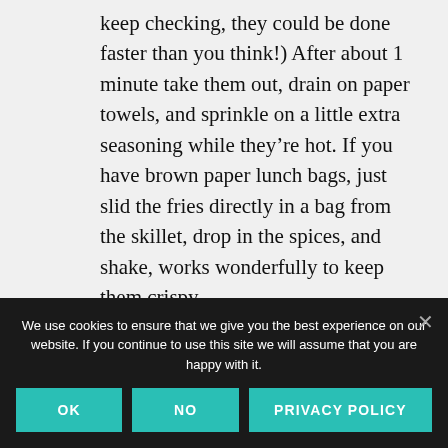keep checking, they could be done faster than you think!) After about 1 minute take them out, drain on paper towels, and sprinkle on a little extra seasoning while they're hot. If you have brown paper lunch bags, just slid the fries directly in a bag from the skillet, drop in the spices, and shake, works wonderfully to keep them crispy. To dip, I recommend plain sour cream (the fries are very flavorful), maybe with a little “Top the Carrot” mixed in.
We use cookies to ensure that we give you the best experience on our website. If you continue to use this site we will assume that you are happy with it.
OK
NO
PRIVACY POLICY